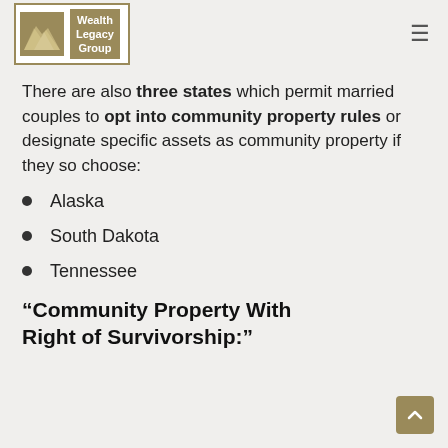Wealth Legacy Group
There are also three states which permit married couples to opt into community property rules or designate specific assets as community property if they so choose:
Alaska
South Dakota
Tennessee
“Community Property With Right of Survivorship:”